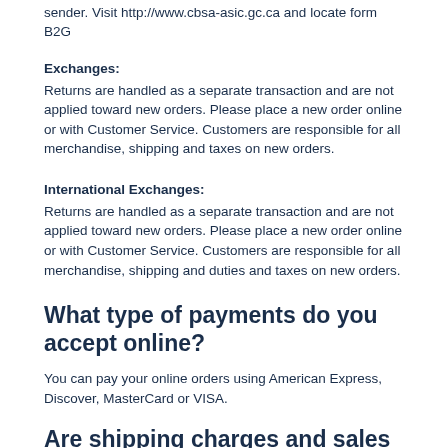sender. Visit http://www.cbsa-asic.gc.ca and locate form B2G
Exchanges:
Returns are handled as a separate transaction and are not applied toward new orders. Please place a new order online or with Customer Service. Customers are responsible for all merchandise, shipping and taxes on new orders.
International Exchanges:
Returns are handled as a separate transaction and are not applied toward new orders. Please place a new order online or with Customer Service. Customers are responsible for all merchandise, shipping and duties and taxes on new orders.
What type of payments do you accept online?
You can pay your online orders using American Express, Discover, MasterCard or VISA.
Are shipping charges and sales tax included in the pricing?